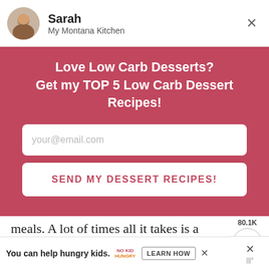[Figure (screenshot): Author header with avatar photo of Sarah, site name My Montana Kitchen, and close X button]
Love Low Carb Desserts?
Get my TOP 5 Low Carb Dessert Recipes!
[Figure (screenshot): Email input field with placeholder your@email.com]
[Figure (screenshot): Button: SEND MY DESSERT RECIPES!]
meals. A lot of times all it takes is a little bit of planning and prep time.
Check out my video below to see just how easy it is to make this Alfredo Chicken
[Figure (screenshot): Share widget showing 80.1K shares with share icon circle]
[Figure (screenshot): What's Next widget showing Easy Chicken Casserole w... thumbnail and label]
[Figure (screenshot): Ad banner: You can help hungry kids. No Kid Hungry. LEARN HOW. With close X button.]